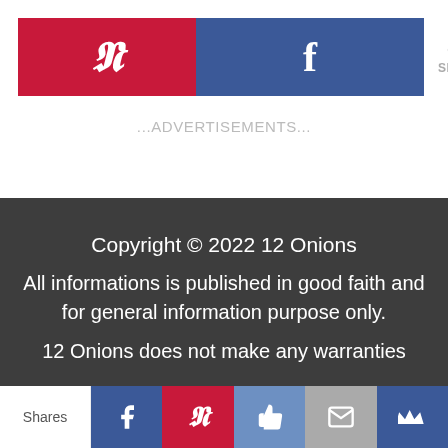[Figure (other): Social share buttons: Pinterest (red) and Facebook (blue) buttons with share count showing 0 SHARES]
...ADVERTISEMENTS...
Copyright © 2022 12 Onions
All informations is published in good faith and for general information purpose only.
12 Onions does not make any warranties
[Figure (other): Bottom share toolbar with Shares label, Facebook, Pinterest, Like, Mail, and Crown icons]